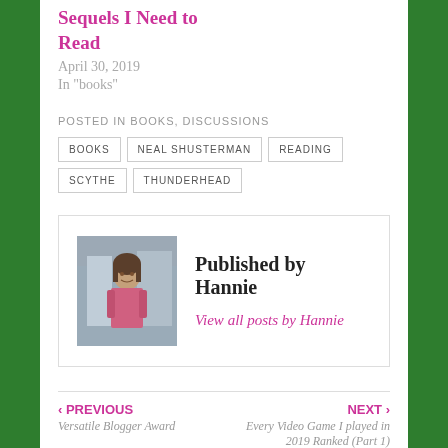Sequels I Need to Read
April 30, 2019
In "books"
POSTED IN BOOKS, DISCUSSIONS
BOOKS
NEAL SHUSTERMAN
READING
SCYTHE
THUNDERHEAD
[Figure (photo): Profile photo of Hannie, a young woman standing outdoors on a street]
Published by Hannie
View all posts by Hannie
‹ PREVIOUS
Versatile Blogger Award
NEXT ›
Every Video Game I played in 2019 Ranked (Part 1)